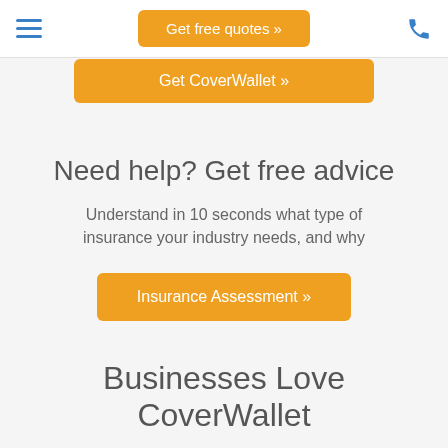Get free quotes »
Get CoverWallet »
Need help? Get free advice
Understand in 10 seconds what type of insurance your industry needs, and why
Insurance Assessment »
Businesses Love CoverWallet
Our mission is to help small businesses to be better protected, informed and served. See what